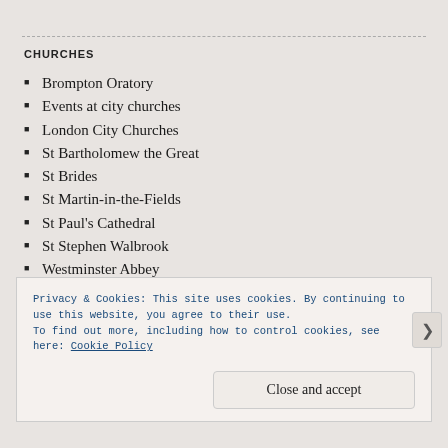CHURCHES
Brompton Oratory
Events at city churches
London City Churches
St Bartholomew the Great
St Brides
St Martin-in-the-Fields
St Paul's Cathedral
St Stephen Walbrook
Westminster Abbey
Privacy & Cookies: This site uses cookies. By continuing to use this website, you agree to their use. To find out more, including how to control cookies, see here: Cookie Policy
Close and accept